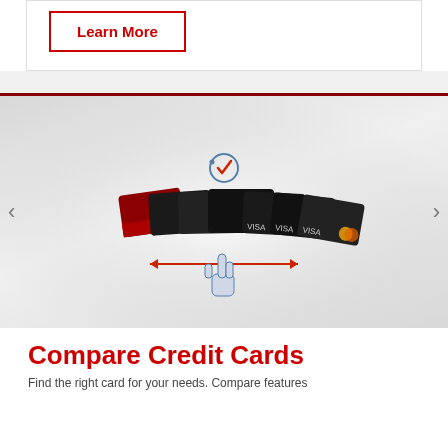Learn More
[Figure (illustration): A row of credit cards (red and black Mastercard/Visa variants) displayed in a fan arrangement on a light grey gradient background. A pointing hand cursor icon is shown below the cards with a double-headed red arrow indicating swipe/scroll interaction. A checkmark icon appears above the cards. Left and right navigation arrows are on either side.]
Compare Credit Cards
Find the right card for your needs. Compare features